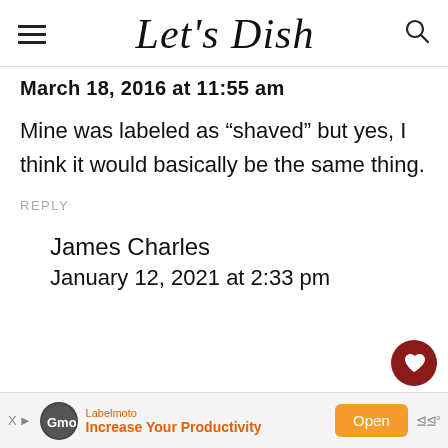Let's Dish
March 18, 2016 at 11:55 am
Mine was labeled as “shaved” but yes, I think it would basically be the same thing.
REPLY
502
James Charles
January 12, 2021 at 2:33 pm
Labelmoto
Increase Your Productivity